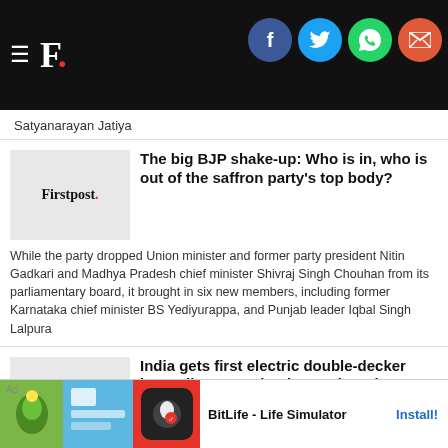F. [Firstpost logo with social share icons: Facebook, Twitter, WhatsApp, Email]
Satyanarayan Jatiya
[Figure (logo): Firstpost logo thumbnail (grey background)]
The big BJP shake-up: Who is in, who is out of the saffron party's top body?
While the party dropped Union minister and former party president Nitin Gadkari and Madhya Pradesh chief minister Shivraj Singh Chouhan from its parliamentary board, it brought in six new members, including former Karnataka chief minister BS Yediyurappa, and Punjab leader Iqbal Singh Lalpura
[Figure (logo): Firstpost logo thumbnail (grey background)]
India gets first electric double-decker bus: All you need to know about it
The first of its kind electric double-decker ... body and se... have two st... ment
[Figure (screenshot): Ad banner: BitLife - Life Simulator with Install button]